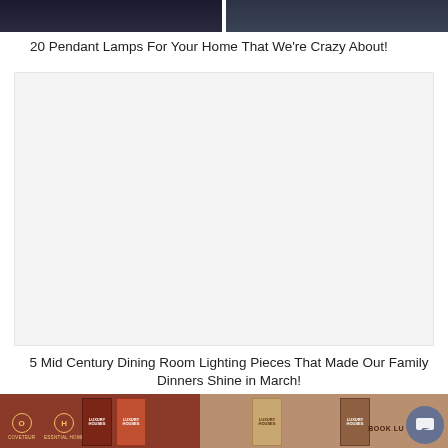[Figure (photo): Two dark interior/lighting photos side by side at the top of the page]
20 Pendant Lamps For Your Home That We're Crazy About!
[Figure (other): Advertisement or content block - large white/light gray empty area]
5 Mid Century Dining Room Lighting Pieces That Made Our Family Dinners Shine in March!
BOOK LU... | Luxury Houses book covers and brand logos bar